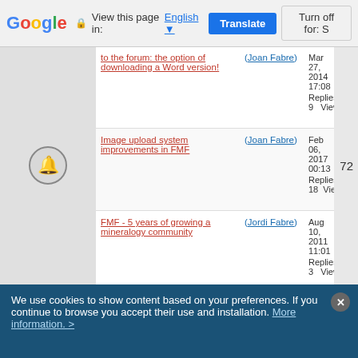Google | View this page in: English | Translate | Turn off for: S
to the forum: the option of downloading a Word version! (Joan Fabre) — Mar 27, 2014 17:08 Replies: 9 Views: 31857
Image upload system improvements in FMF (Joan Fabre) — Feb 06, 2017 00:13 Replies: 18 Views: 43765
FMF - 5 years of growing a mineralogy community (Jordi Fabre) — Aug 10, 2011 11:01 Replies: 3 Views: 30521
New Data Base of localities within the FMF! (Jordi Fabre) — Nov 25, 2014 03:13 Replies: 1 Views: 24631
Rules for 'Collection photos and Collector's page' (prcantos) — Dec 28, 2015 13:13 Replies: 0 Views: 23015
'I like' a new feature on the FMF (Jordi Fabre) — Nov 04, 2015 13:19 Replies: 8 Views: 26579
72
We use cookies to show content based on your preferences. If you continue to browse you accept their use and installation. More information. >